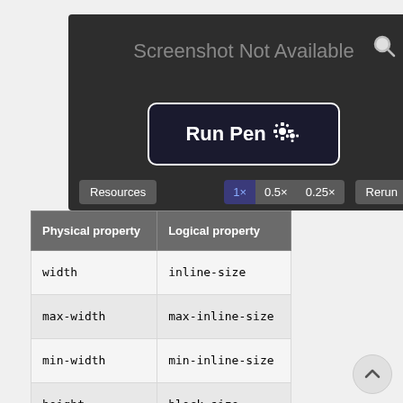[Figure (screenshot): Screenshot Not Available panel with dark background, a 'Run Pen' button with gear icons, and a toolbar with Resources, 1×, 0.5×, 0.25×, and Rerun buttons]
| Physical property | Logical property |
| --- | --- |
| width | inline-size |
| max-width | max-inline-size |
| min-width | min-inline-size |
| height | block-size |